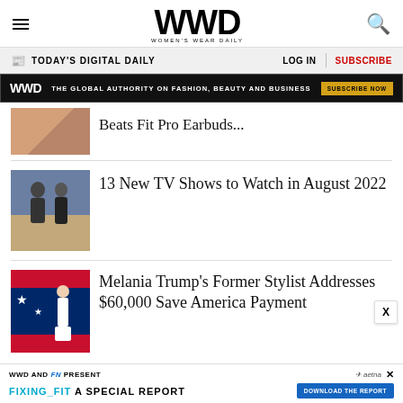WWD — Women's Wear Daily
TODAY'S DIGITAL DAILY | LOG IN | SUBSCRIBE
[Figure (infographic): WWD dark banner ad: THE GLOBAL AUTHORITY ON FASHION, BEAUTY AND BUSINESS | SUBSCRIBE NOW button]
Beats Fit Pro Earbuds...
13 New TV Shows to Watch in August 2022
Melania Trump's Former Stylist Addresses $60,000 Save America Payment
[Figure (infographic): Bottom ad bar: WWD AND FN PRESENT — FIXING_FIT A SPECIAL REPORT — DOWNLOAD THE REPORT button — aetna logo]